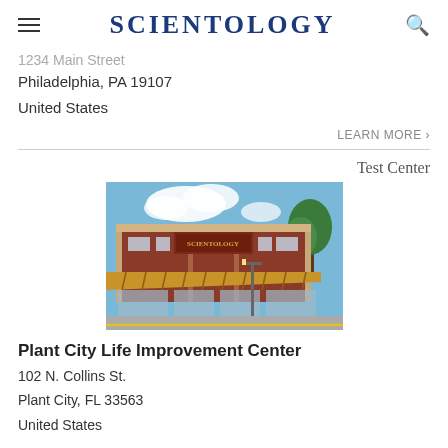SCIENTOLOGY
[partial street address]
Philadelphia, PA 19107
United States
LEARN MORE ›
Test Center
[Figure (photo): Exterior photograph of Plant City Life Improvement Center — a red brick two-story building with a tan/brown awning and signage, blue sky with clouds, trees visible on the right.]
Plant City Life Improvement Center
102 N. Collins St.
Plant City, FL 33563
United States